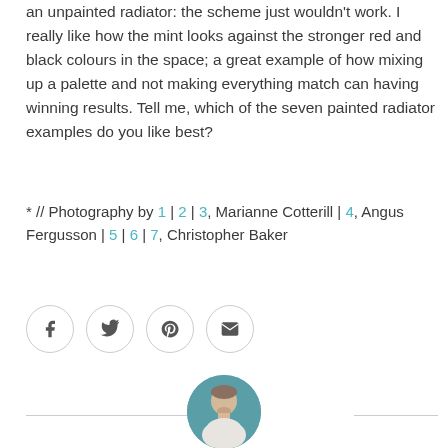an unpainted radiator: the scheme just wouldn't work. I really like how the mint looks against the stronger red and black colours in the space; a great example of how mixing up a palette and not making everything match can having winning results. Tell me, which of the seven painted radiator examples do you like best?
* // Photography by 1 | 2 | 3, Marianne Cotterill | 4, Angus Fergusson | 5 | 6 | 7, Christopher Baker
[Figure (other): Social sharing icons: Facebook, Twitter, Pinterest, Email — each inside a circular border]
[Figure (photo): Circular author avatar photo showing a young man against a teal/blue background, wearing a light shirt]